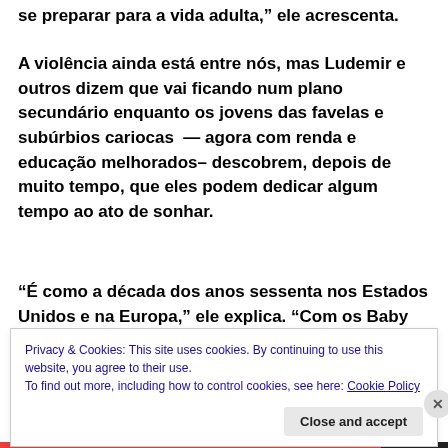coisas que eles especialmente deviam estar fazendo para se preparar para a vida adulta,” ele acrescenta.
A violência ainda está entre nós, mas Ludemir e outros dizem que vai ficando num plano secundário enquanto os jovens das favelas e subúrbios cariocas — agora com renda e educação melhorados– descobrem, depois de muito tempo, que eles podem dedicar algum tempo ao ato de sonhar.
“É como a década dos anos sessenta nos Estados Unidos e na Europa,” ele explica. “Com os Baby Boomers, a
Privacy & Cookies: This site uses cookies. By continuing to use this website, you agree to their use.
To find out more, including how to control cookies, see here: Cookie Policy
Close and accept